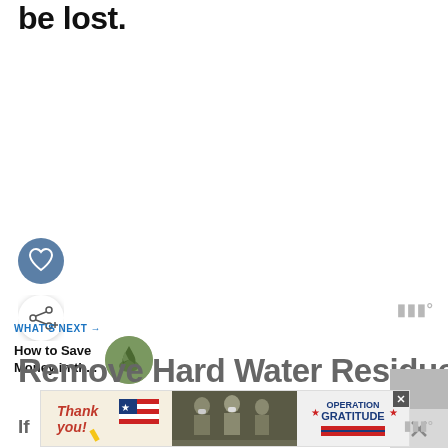be lost.
[Figure (infographic): Heart/like button (circular blue) and share button (circular white with shadow) on the left side]
WHAT'S NEXT → How to Save Money in th...
[Figure (photo): Circular thumbnail image of a hand holding coins/plant]
Remove Hard Water Residue
[Figure (photo): Advertisement banner: Thank you military Operation Gratitude ad with soldier images]
If